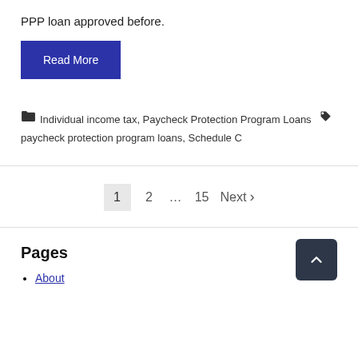PPP loan approved before.
Read More
Individual income tax, Paycheck Protection Program Loans  paycheck protection program loans, Schedule C
1  2  …  15  Next ›
Pages
About